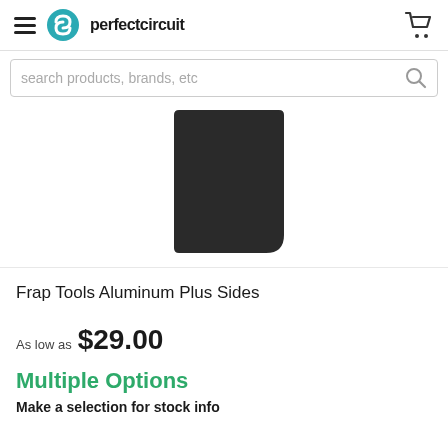perfect circuit
search products, brands, etc
[Figure (photo): Black rectangular product (Frap Tools Aluminum Plus Sides) with rounded bottom-right corner, photographed against a white background]
Frap Tools Aluminum Plus Sides
As low as $29.00
Multiple Options
Make a selection for stock info